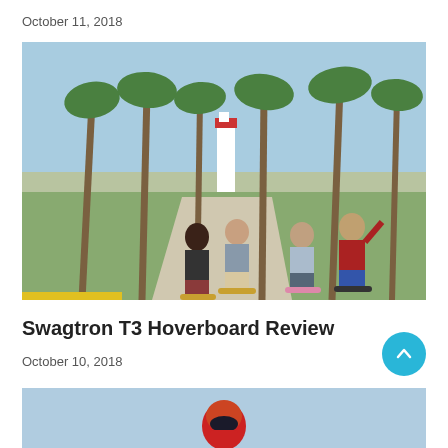October 11, 2018
[Figure (photo): Four people riding hoverboards on a palm-tree lined path near a lighthouse and green lawn, sunny day.]
Swagtron T3 Hoverboard Review
October 10, 2018
[Figure (photo): Person wearing a red helmet, partially visible, against a blue sky background.]